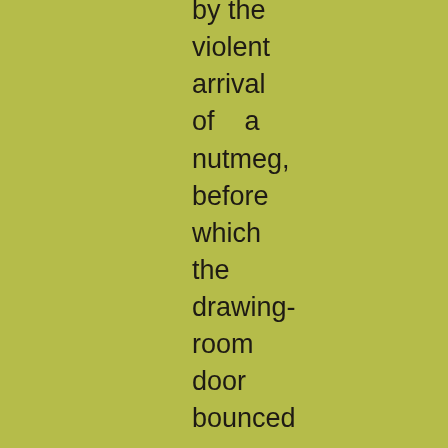by the violent arrival of a nutmeg, before which the drawing-room door bounced open as if it were a cannon-ball; and